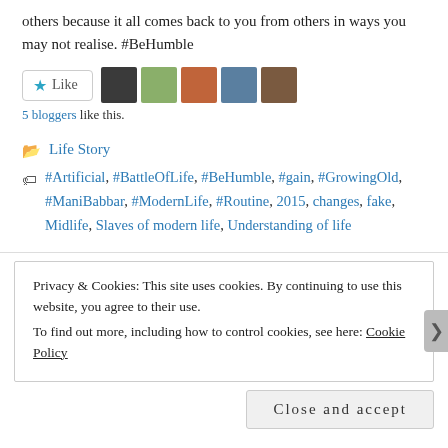others because it all comes back to you from others in ways you may not realise. #BeHumble
[Figure (screenshot): Like button and 5 blogger avatars]
5 bloggers like this.
Life Story
#Artificial, #BattleOfLife, #BeHumble, #gain, #GrowingOld, #ManiBabbar, #ModernLife, #Routine, 2015, changes, fake, Midlife, Slaves of modern life, Understanding of life
Privacy & Cookies: This site uses cookies. By continuing to use this website, you agree to their use.
To find out more, including how to control cookies, see here: Cookie Policy
Close and accept